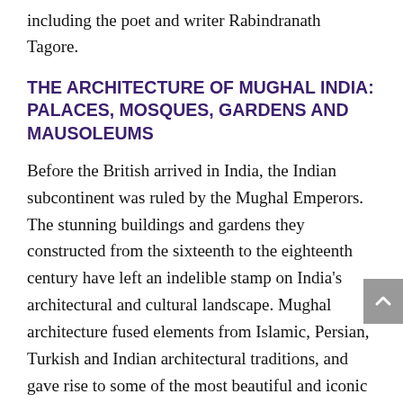including the poet and writer Rabindranath Tagore.
THE ARCHITECTURE OF MUGHAL INDIA: PALACES, MOSQUES, GARDENS AND MAUSOLEUMS
Before the British arrived in India, the Indian subcontinent was ruled by the Mughal Emperors. The stunning buildings and gardens they constructed from the sixteenth to the eighteenth century have left an indelible stamp on India's architectural and cultural landscape. Mughal architecture fused elements from Islamic, Persian, Turkish and Indian architectural traditions, and gave rise to some of the most beautiful and iconic buildings in the world. From the Jama Masjid in Delhi, to the Taj Mahal in Agra, to the Shalimar Gardens in Lahore, this